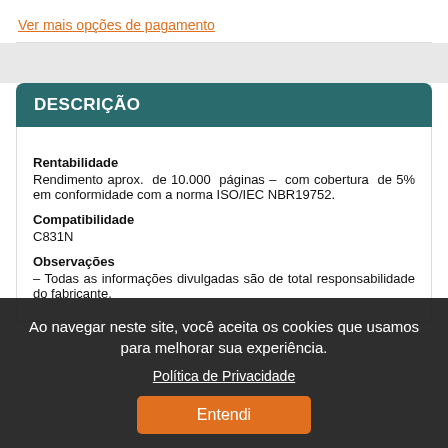Ver mais opções de pagamento
DESCRIÇÃO
Rentabilidade
Rendimento aprox. de 10.000 páginas – com cobertura de 5% em conformidade com a norma ISO/IEC NBR19752.
Compatibilidade
C831N
Observações
– Todas as informações divulgadas são de total responsabilidade do fabricante.
Ao navegar neste site, você aceita os cookies que usamos para melhorar sua experiência.
Política de Privacidade
Entendi